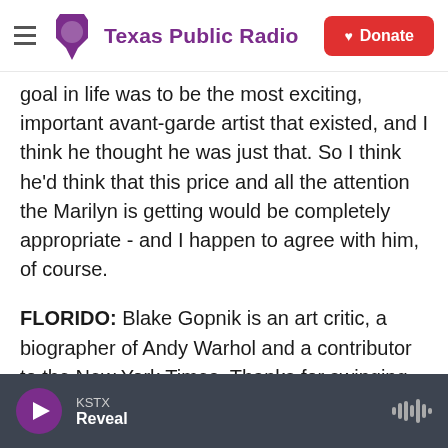Texas Public Radio | Donate
goal in life was to be the most exciting, important avant-garde artist that existed, and I think he thought he was just that. So I think he'd think that this price and all the attention the Marilyn is getting would be completely appropriate - and I happen to agree with him, of course.
FLORIDO: Blake Gopnik is an art critic, a biographer of Andy Warhol and a contributor to the New York Times. Thanks for swinging by to talk with us about it.
GOPNIK: A real pleasure. Transcript provided by
KSTX Reveal